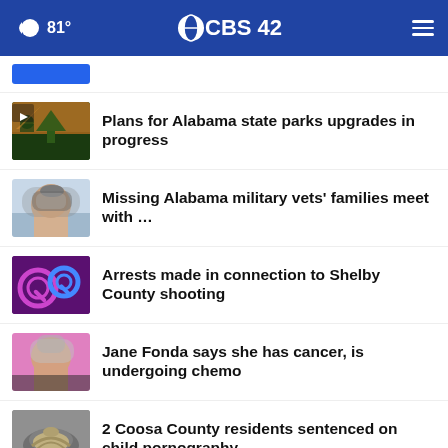CBS 42 — 81°
Plans for Alabama state parks upgrades in progress
Missing Alabama military vets' families meet with …
Arrests made in connection to Shelby County shooting
Jane Fonda says she has cancer, is undergoing chemo
2 Coosa County residents sentenced on child pornography …